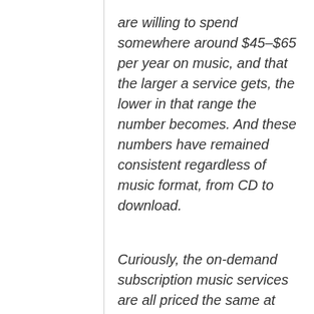are willing to spend somewhere around $45–$65 per year on music, and that the larger a service gets, the lower in that range the number becomes. And these numbers have remained consistent regardless of music format, from CD to download.
Curiously, the on-demand subscription music services are all priced the same at more than twice